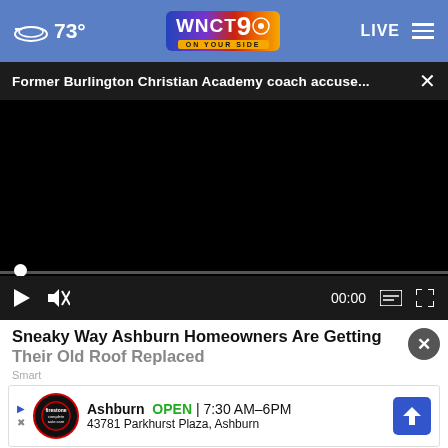73° WNCT 9 ON YOUR SIDE LIVE
Former Burlington Christian Academy coach accuse... ×
[Figure (screenshot): Black video player area with progress bar, play button, mute button, 00:00 timestamp, subtitle and fullscreen controls]
Sneaky Way Ashburn Homeowners Are Getting Their Old Roof Replaced
Smart
[Figure (screenshot): Tire auto advertisement: Ashburn OPEN 7:30 AM–6PM, 43781 Parkhurst Plaza, Ashburn with Firestone auto logo and blue direction arrow]
[Figure (photo): Partial image strip at bottom of page, grayish]